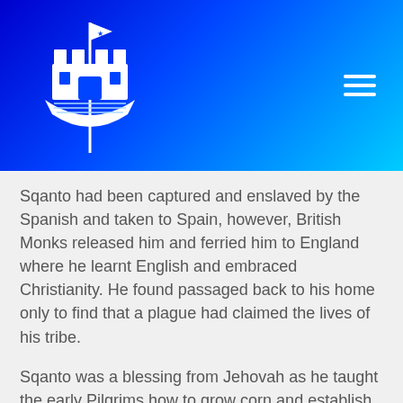[Figure (logo): Castle/ship logo with flag on top, white outline on blue-to-cyan gradient header background, with hamburger menu icon on the right]
Sqanto had been captured and enslaved by the Spanish and taken to Spain, however, British Monks released him and ferried him to England where he learnt English and embraced Christianity. He found passaged back to his home only to find that a plague had claimed the lives of his tribe.
Sqanto was a blessing from Jehovah as he taught the early Pilgrims how to grow corn and establish trade with the Massasoit tribe.
Tragedy lay ahead many of these believers who braved the voyage on the Mayflower. The winter was harsh, and half the pilgrims perished leaving only 51